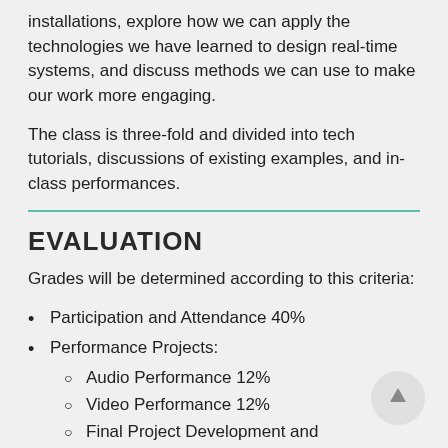installations, explore how we can apply the technologies we have learned to design real-time systems, and discuss methods we can use to make our work more engaging.
The class is three-fold and divided into tech tutorials, discussions of existing examples, and in-class performances.
EVALUATION
Grades will be determined according to this criteria:
Participation and Attendance 40%
Performance Projects:
Audio Performance 12%
Video Performance 12%
Final Project Development and Execution 16%